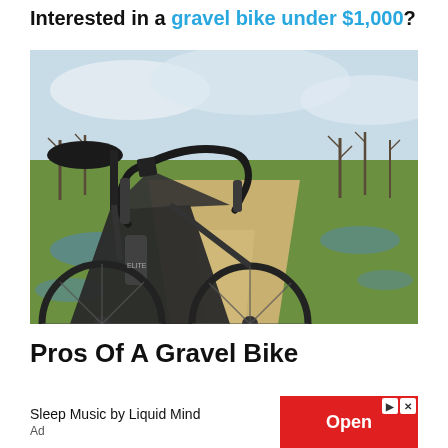Interested in a gravel bike under $1,000?
[Figure (photo): A gravel bike parked on a dirt path flanked by green fields and bare trees, with puddles of water on the sides of the track, overcast sky in background.]
Pros Of A Gravel Bike
[Figure (other): Advertisement banner: 'Sleep Music by Liquid Mind' with a red 'Open' button and ad label, including share and close icons.]